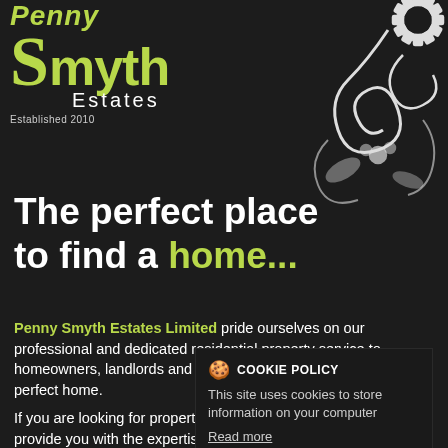[Figure (logo): Penny Smyth Estates logo with green stylized S and text, Established 2010]
[Figure (illustration): Decorative white floral/swirl pattern on dark background, top right corner]
The perfect place to find a home...
Penny Smyth Estates Limited pride ourselves on our professional and dedicated residential property service to homeowners, landlords and tenants, matching people with their perfect home.
COOKIE POLICY
This site uses cookies to store information on your computer
Read more
OK
If you are looking for property then Penny Smyth Estates can provide you with the expertise and range of services to meet